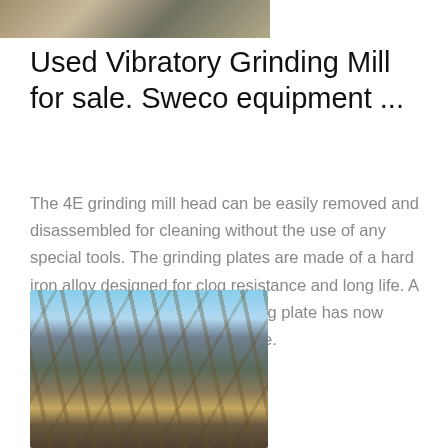[Figure (photo): Partial view of a rock/gravel crushing or grinding machine, close-up detail, cropped at top of page]
Used Vibratory Grinding Mill for sale. Sweco equipment ...
The 4E grinding mill head can be easily removed and disassembled for cleaning without the use of any special tools. The grinding plates are made of a hard iron alloy designed for clog resistance and long life. A new, special acicular iron grinding plate has now been introduced as an up-charge.
[Figure (photo): Outdoor photo of a large industrial grinding or crushing mill machine with conveyor belts, metal structures, and industrial buildings in the background under a blue sky]